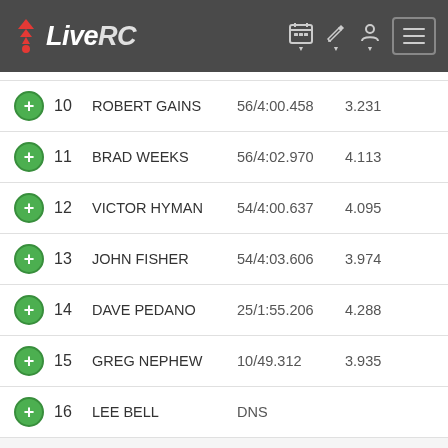LiveRC
| Pos | Driver | Laps/Time | Fastest Lap |
| --- | --- | --- | --- |
| 10 | ROBERT GAINS | 56/4:00.458 | 3.231 |
| 11 | BRAD WEEKS | 56/4:02.970 | 4.113 |
| 12 | VICTOR HYMAN | 54/4:00.637 | 4.095 |
| 13 | JOHN FISHER | 54/4:03.606 | 3.974 |
| 14 | DAVE PEDANO | 25/1:55.206 | 4.288 |
| 15 | GREG NEPHEW | 10/49.312 | 3.935 |
| 16 | LEE BELL | DNS |  |